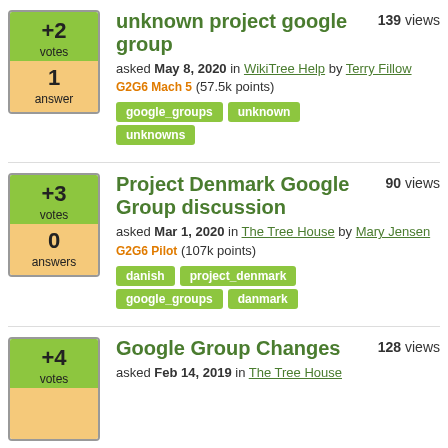+2 votes | 1 answer | unknown project google group | 139 views | asked May 8, 2020 in WikiTree Help by Terry Fillow G2G6 Mach 5 (57.5k points) | tags: google_groups, unknown, unknowns
+3 votes | 0 answers | Project Denmark Google Group discussion | 90 views | asked Mar 1, 2020 in The Tree House by Mary Jensen G2G6 Pilot (107k points) | tags: danish, project_denmark, google_groups, danmark
+4 votes | Google Group Changes | 128 views | asked Feb 14, 2019 in The Tree House